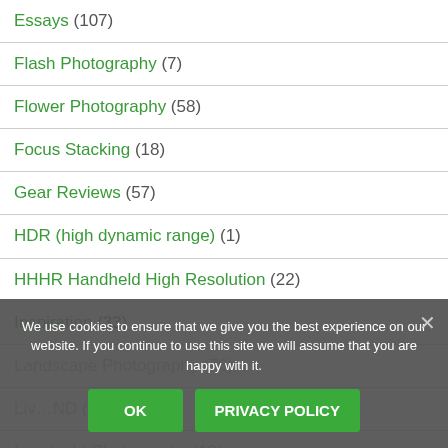Essays (107)
Flash Photography (7)
Flower Photography (58)
Focus Stacking (18)
Gear Reviews (57)
HDR (high dynamic range) (1)
HHHR Handheld High Resolution (22)
Inspiration (33)
Landscape Photography (76)
Live ND (?)
Low Light Photography (13)
Macro (63)
We use cookies to ensure that we give you the best experience on our website. If you continue to use this site we will assume that you are happy with it.